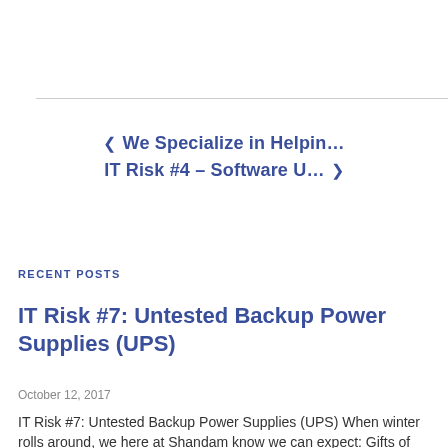< We Specialize in Helpin…
IT Risk #4 – Software U… >
RECENT POSTS
IT Risk #7: Untested Backup Power Supplies (UPS)
October 12, 2017
IT Risk #7: Untested Backup Power Supplies (UPS) When winter rolls around, we here at Shandam know we can expect: Gifts of unwanted fruitcake An